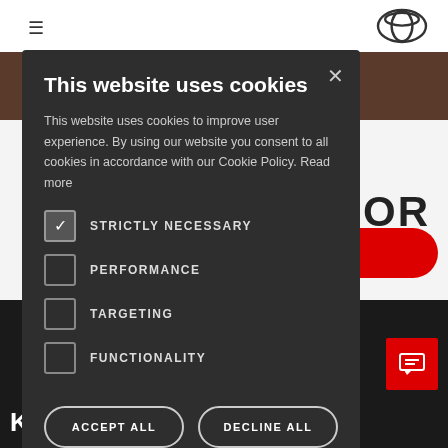[Figure (screenshot): Toyota website navigation bar with hamburger menu icon and Toyota logo]
This website uses cookies
This website uses cookies to improve user experience. By using our website you consent to all cookies in accordance with our Cookie Policy. Read more
STRICTLY NECESSARY (checked)
PERFORMANCE
TARGETING
FUNCTIONALITY
ACCEPT ALL
DECLINE ALL
SHOW DETAILS
Contact
KEEPING YOU SAFE